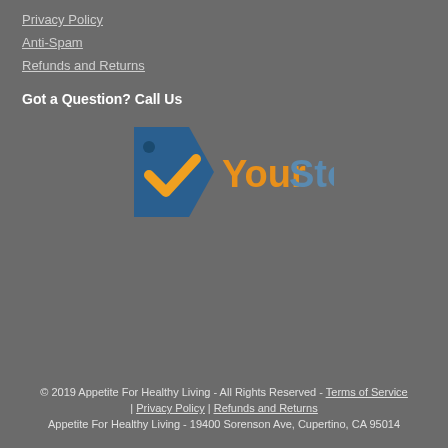Privacy Policy
Anti-Spam
Refunds and Returns
Got a Question? Call Us
[Figure (logo): YourStore logo with blue price tag shape containing orange/yellow checkmark, and text 'YourStore' with 'Your' in orange and 'Store' in blue-gray]
© 2019 Appetite For Healthy Living - All Rights Reserved - Terms of Service | Privacy Policy | Refunds and Returns
Appetite For Healthy Living - 19400 Sorenson Ave, Cupertino, CA 95014